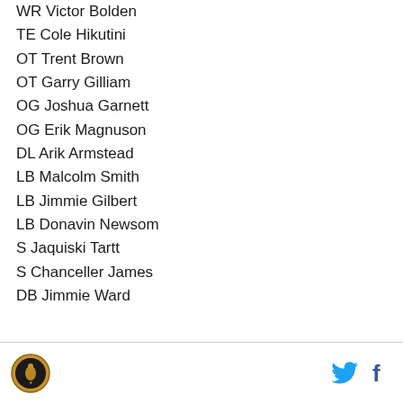WR Victor Bolden
TE Cole Hikutini
OT Trent Brown
OT Garry Gilliam
OG Joshua Garnett
OG Erik Magnuson
DL Arik Armstead
LB Malcolm Smith
LB Jimmie Gilbert
LB Donavin Newsom
S Jaquiski Tartt
S Chanceller James
DB Jimmie Ward
Logo | Twitter | Facebook